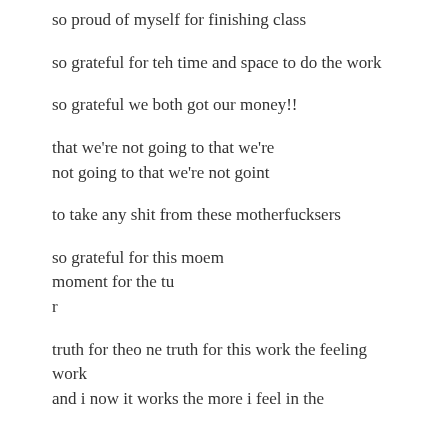so proud of myself for finishing class
so grateful for teh time and space to do the work
so grateful we both got our money!!
that we're not going to that we're
not going to that we're not goint
to take any shit from these motherfucksers
so grateful for this moem
moment for the tu
r
truth for theo ne truth for this work the feeling work
and i now it works the more i feel in the